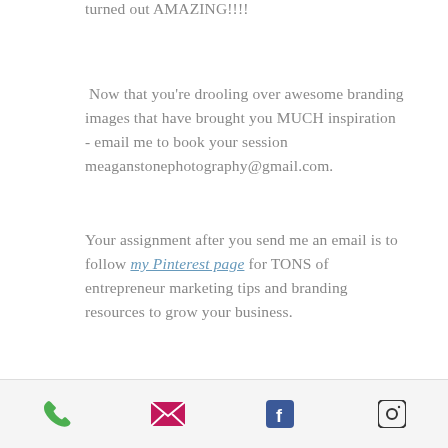turned out AMAZING!!!!
Now that you're drooling over awesome branding images that have brought you MUCH inspiration - email me to book your session meaganstonephotography@gmail.com.
Your assignment after you send me an email is to follow my Pinterest page for TONS of entrepreneur marketing tips and branding resources to grow your business.
Phone | Email | Facebook | Instagram icons